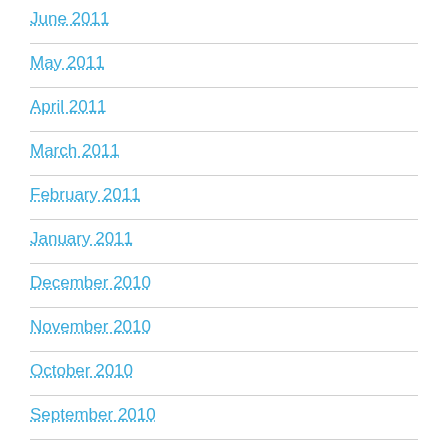June 2011
May 2011
April 2011
March 2011
February 2011
January 2011
December 2010
November 2010
October 2010
September 2010
August 2010